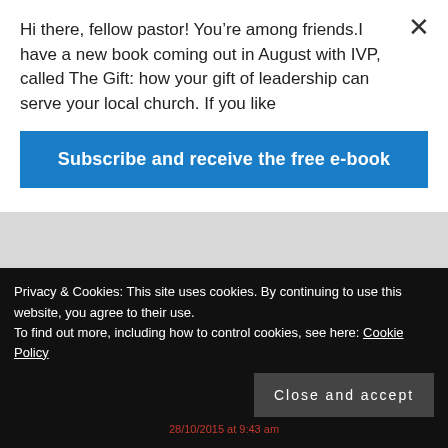Hi there, fellow pastor! You’re among friends.I have a new book coming out in August with IVP, called The Gift: how your gift of leadership can serve your local church. If you like
Subscribe and receive the free e-book
After all the FSB (exKGB) now reportedly uses typewriters again due to the extra protection from hackers that they provide...
REPLY
Privacy & Cookies: This site uses cookies. By continuing to use this website, you agree to their use.
To find out more, including how to control cookies, see here: Cookie Policy
Close and accept
28/10/2015 at 9:43 am